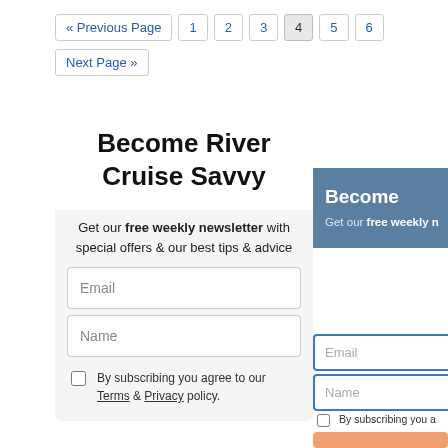« Previous Page  1  2  3  4  5  6
Next Page »
Become River Cruise Savvy
Get our free weekly newsletter with special offers & our best tips & advice
Email
Name
By subscribing you agree to our Terms & Privacy policy.
Become
Get our free weekly n
Email
Name
By subscribing you a